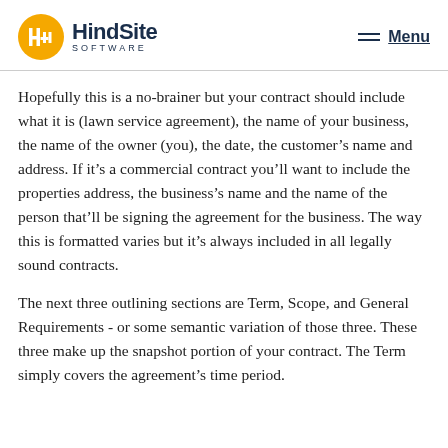HindSite SOFTWARE | Menu
Hopefully this is a no-brainer but your contract should include what it is (lawn service agreement), the name of your business, the name of the owner (you), the date, the customer’s name and address. If it’s a commercial contract you’ll want to include the properties address, the business’s name and the name of the person that’ll be signing the agreement for the business. The way this is formatted varies but it’s always included in all legally sound contracts.
The next three outlining sections are Term, Scope, and General Requirements - or some semantic variation of those three. These three make up the snapshot portion of your contract. The Term simply covers the agreement’s time period.